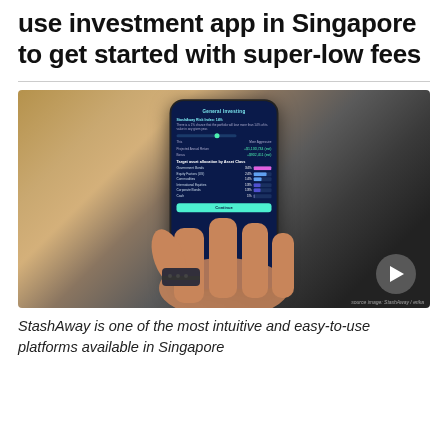use investment app in Singapore to get started with super-low fees
[Figure (photo): A hand holding a smartphone displaying the StashAway investment app interface showing a General Investing screen with portfolio allocation sliders and asset category bars including Government Bonds, Equity factors, Commodities, International Equities, Corporate Bonds, and Cash.]
StashAway is one of the most intuitive and easy-to-use platforms available in Singapore